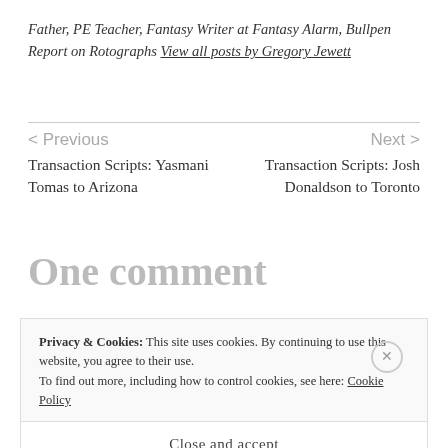Father, PE Teacher, Fantasy Writer at Fantasy Alarm, Bullpen Report on Rotographs View all posts by Gregory Jewett
< Previous
Transaction Scripts: Yasmani Tomas to Arizona
Next >
Transaction Scripts: Josh Donaldson to Toronto
One comment
Privacy & Cookies: This site uses cookies. By continuing to use this website, you agree to their use.
To find out more, including how to control cookies, see here: Cookie Policy
Close and accept